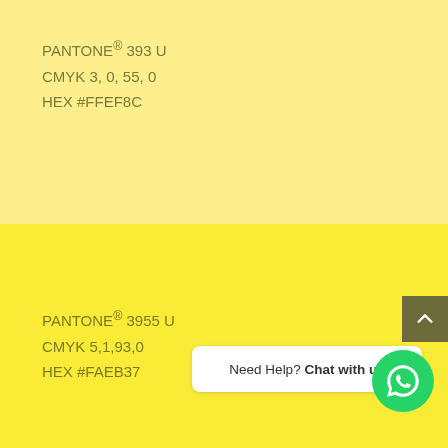[Figure (other): Color swatch — top half, light yellow, PANTONE 393 U, HEX #FFEF8C]
PANTONE® 393 U
CMYK 3, 0, 55, 0
HEX #FFEF8C
[Figure (other): Color swatch — bottom half, bright yellow, PANTONE 3955 U, HEX #FAEB37]
PANTONE® 3955 U
CMYK 5,1,93,0
HEX #FAEB37
Need Help? Chat with us